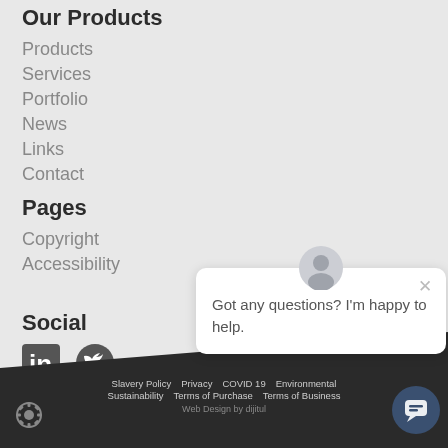Our Products
Products
Services
Portfolio
News
Links
Contact
Pages
Copyright
Accessibility
Social
[Figure (other): LinkedIn and Twitter social media icons]
[Figure (other): Chat popup with avatar icon, close button, and text: Got any questions? I'm happy to help.]
Slavery Policy  Privacy  COVID 19  Environmental  Sustainability  Terms of Purchase  Terms of Business  Web Design by dijitul